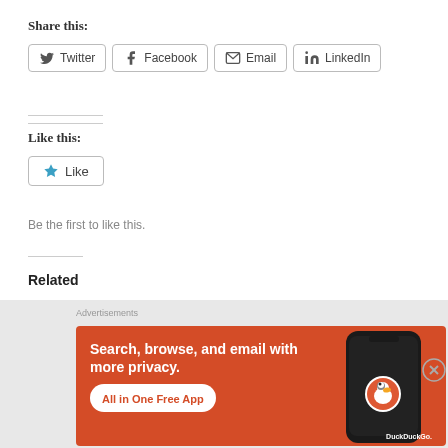Share this:
Twitter
Facebook
Email
LinkedIn
Like this:
Like
Be the first to like this.
Related
[Figure (photo): Dark silhouette figure against blue glowing background]
[Figure (photo): Silhouette figure against misty grey sky]
[Figure (screenshot): DuckDuckGo advertisement: Search, browse, and email with more privacy. All in One Free App.]